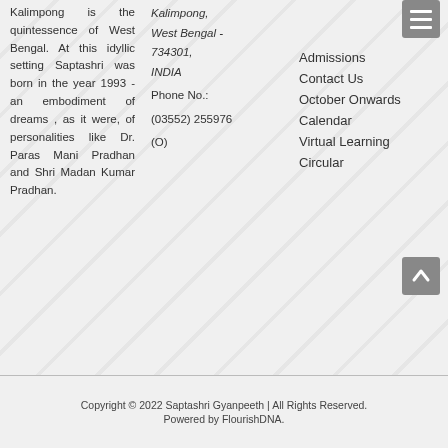Kalimpong is the quintessence of West Bengal. At this idyllic setting Saptashri was born in the year 1993 - an embodiment of dreams , as it were, of personalities like Dr. Paras Mani Pradhan and Shri Madan Kumar Pradhan.
Kalimpong, West Bengal - 734301, INDIA
Phone No.: (03552) 255976 (O)
Admissions
Contact Us
October Onwards
Calendar
Virtual Learning
Circular
Copyright © 2022 Saptashri Gyanpeeth | All Rights Reserved.
Powered by FlourishDNA.